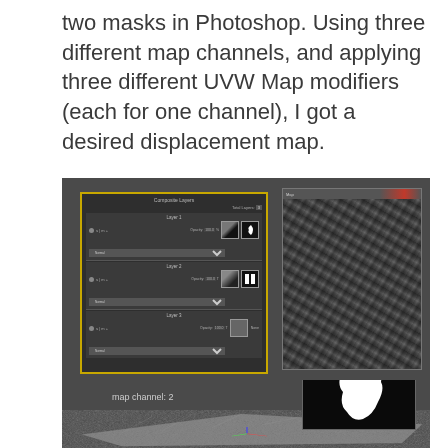two masks in Photoshop. Using three different map channels, and applying three different UVW Map modifiers (each for one channel), I got a desired displacement map.
[Figure (screenshot): Screenshot showing a Photoshop Composite Layers panel with three layers on the left (outlined in yellow/gold border), and a displacement map texture preview on the upper right. Below is a 3D viewport showing a displaced mesh plane labeled 'map channel: 2' with a black inset thumbnail labeled 'MASK, map channel: 1' showing a white shape on black background.]